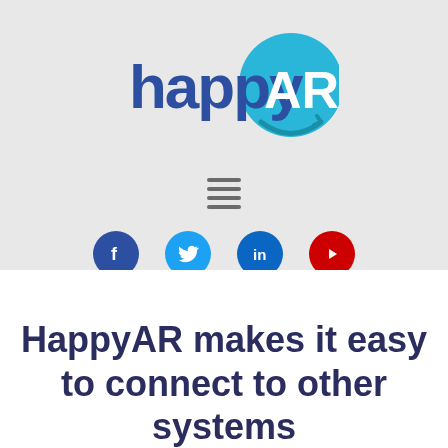[Figure (logo): HappyAR logo — 'happy' in dark blue lowercase letters followed by 'AR' in white letters inside a light blue circle with a curved arrow underneath]
[Figure (infographic): Hamburger menu icon (three horizontal dark gray lines)]
[Figure (infographic): Four social media icons in circles: Facebook (dark blue), Twitter (light blue), LinkedIn (blue), YouTube (red)]
HappyAR makes it easy to connect to other systems